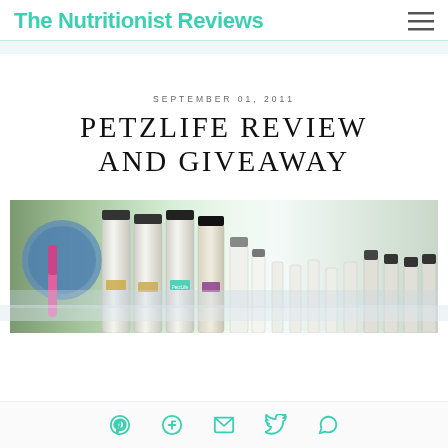The Nutritionist Reviews
SEPTEMBER 01, 2011
PETZLIFE REVIEW AND GIVEAWAY
[Figure (photo): Lineup of PetzLife pet grooming product bottles of various sizes arranged on a surface outdoors with trees in background]
Pinterest Facebook Email Twitter WhatsApp social share icons